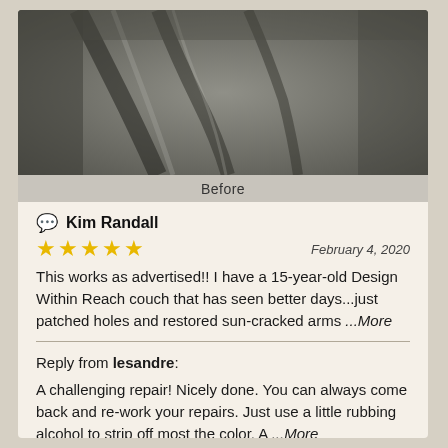[Figure (photo): Close-up photo of worn/cracked leather couch surface in dark gray tones, labeled 'Before']
Before
Kim Randall
★★★★★  February 4, 2020
This works as advertised!! I have a 15-year-old Design Within Reach couch that has seen better days...just patched holes and restored sun-cracked arms ...More
Reply from lesandre: A challenging repair! Nicely done. You can always come back and re-work your repairs. Just use a little rubbing alcohol to strip off most the color. A ...More